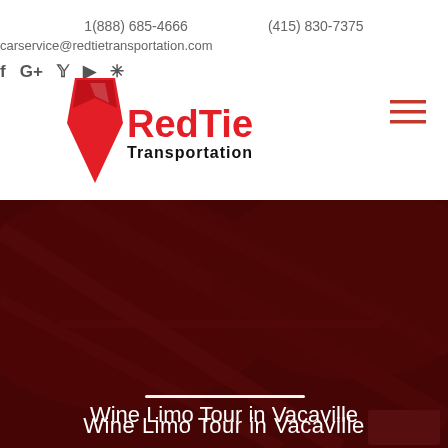1(888) 685-4666    (415) 830-7375
carservice@redtietransportation.com
[Figure (logo): RedTie Transportation logo with red tie graphic and company name]
[Figure (infographic): Hamburger menu icon (three horizontal red lines)]
[Figure (photo): Dark red tinted hero image of luxury car interior leather seats with overlay]
Wine Limo Tour in Vacaville